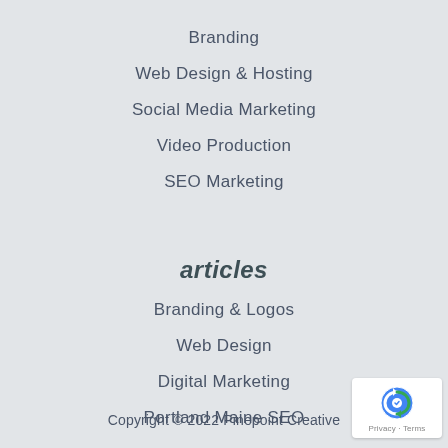Branding
Web Design & Hosting
Social Media Marketing
Video Production
SEO Marketing
articles
Branding & Logos
Web Design
Digital Marketing
Portland Maine SEO
Copyright © 2022 Pinepoint Creative